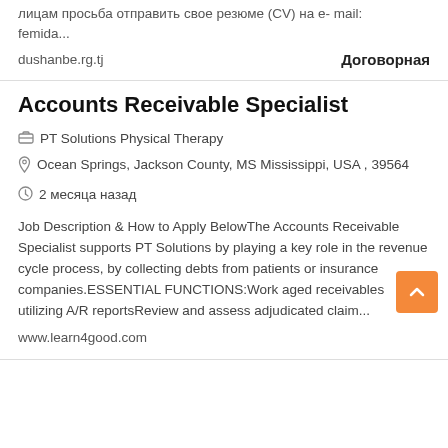лицам просьба отправить свое резюме (CV) на е- mail: femida...
dushanbe.rg.tj
Договорная
Accounts Receivable Specialist
PT Solutions Physical Therapy
Ocean Springs, Jackson County, MS Mississippi, USA , 39564
2 месяца назад
Job Description & How to Apply BelowThe Accounts Receivable Specialist supports PT Solutions by playing a key role in the revenue cycle process, by collecting debts from patients or insurance companies.ESSENTIAL FUNCTIONS:Work aged receivables utilizing A/R reportsReview and assess adjudicated claim...
www.learn4good.com